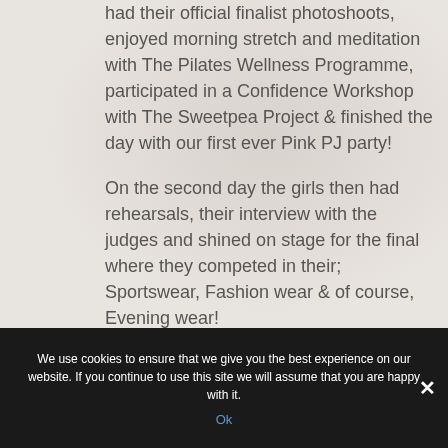had their official finalist photoshoots, enjoyed morning stretch and meditation with The Pilates Wellness Programme, participated in a Confidence Workshop with The Sweetpea Project & finished the day with our first ever Pink PJ party!
On the second day the girls then had rehearsals, their interview with the judges and shined on stage for the final where they competed in their; Sportswear, Fashion wear & of course, Evening wear!
We use cookies to ensure that we give you the best experience on our website. If you continue to use this site we will assume that you are happy with it.
Ok